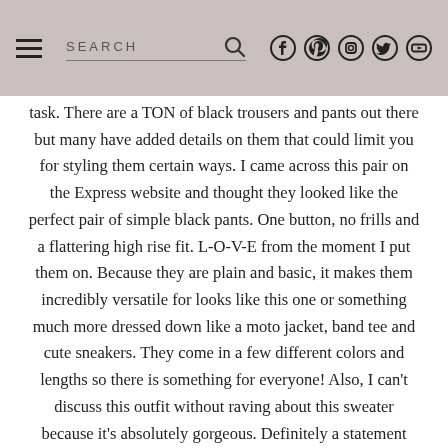SEARCH [social icons: Facebook, Pinterest, Instagram, Twitter, YouTube]
task. There are a TON of black trousers and pants out there but many have added details on them that could limit you for styling them certain ways. I came across this pair on the Express website and thought they looked like the perfect pair of simple black pants. One button, no frills and a flattering high rise fit. L-O-V-E from the moment I put them on. Because they are plain and basic, it makes them incredibly versatile for looks like this one or something much more dressed down like a moto jacket, band tee and cute sneakers. They come in a few different colors and lengths so there is something for everyone! Also, I can't discuss this outfit without raving about this sweater because it's absolutely gorgeous. Definitely a statement piece and one that I can wear season after season and it will always look chic! A few weeks ago I asked on my insta-stories how many people are still working from home versus back in an office and I was really surprised by the